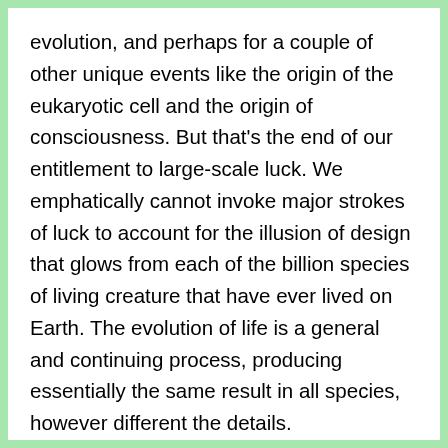evolution, and perhaps for a couple of other unique events like the origin of the eukaryotic cell and the origin of consciousness. But that's the end of our entitlement to large-scale luck. We emphatically cannot invoke major strokes of luck to account for the illusion of design that glows from each of the billion species of living creature that have ever lived on Earth. The evolution of life is a general and continuing process, producing essentially the same result in all species, however different the details.
Contrary to what is sometimes alleged, evolution is a predictive science. If you pick any hitherto unstudied species and subject it to minute scrutiny,